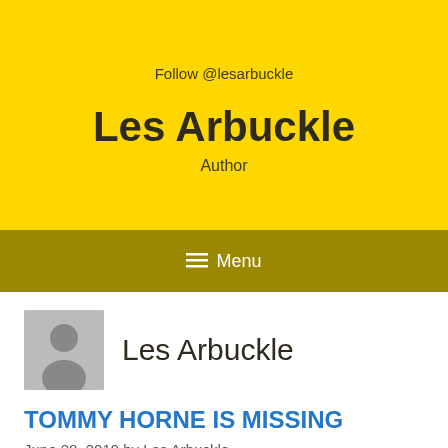Follow @lesarbuckle
Les Arbuckle
Author
≡ Menu
[Figure (illustration): Gray avatar silhouette icon of a person]
Les Arbuckle
TOMMY HORNE IS MISSING
June 28, 2019 by Les Arbuckle